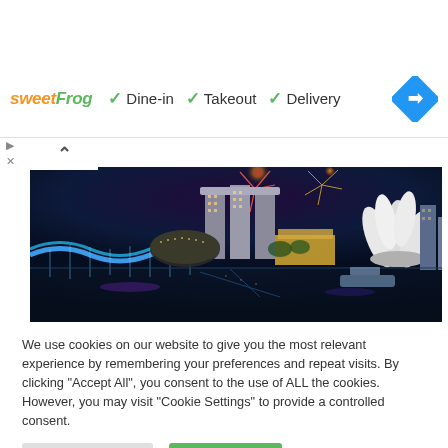[Figure (screenshot): Ad banner showing sweetFrog logo with green checkmarks and Dine-in, Takeout, Delivery text, plus a blue diamond navigation icon on the right]
[Figure (photo): Singapore city skyline at night with fireworks, featuring Marina Bay Sands, ArtScience Museum lotus flower building, and Helix Bridge illuminated in blue]
We use cookies on our website to give you the most relevant experience by remembering your preferences and repeat visits. By clicking "Accept All", you consent to the use of ALL the cookies. However, you may visit "Cookie Settings" to provide a controlled consent.